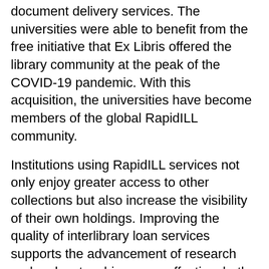document delivery services. The universities were able to benefit from the free initiative that Ex Libris offered the library community at the peak of the COVID-19 pandemic. With this acquisition, the universities have become members of the global RapidILL community.
Institutions using RapidILL services not only enjoy greater access to other collections but also increase the visibility of their own holdings. Improving the quality of interlibrary loan services supports the advancement of research and makes teaching more effective, both on campus and remotely.
Special funds granted by the Italian government to help institutions during the pandemic enabled the universities of Bergamo, Insubria, and Genoa to purchase RapidILL although it was not included in their budget.
Insubria's Head of Library and Documentary Services Alessandra Bezzi commented, "RapidILL meets the ‘Do more with less’ imperative. To enable economies of scale, reduce management burdens, organize workflows more rationally—without duplication or fragmentation—and achieve greater efficiency in providing services to users, we felt it was essential to adopt RapidILL for integration with our library system. Innovation and integration of resources and processes are